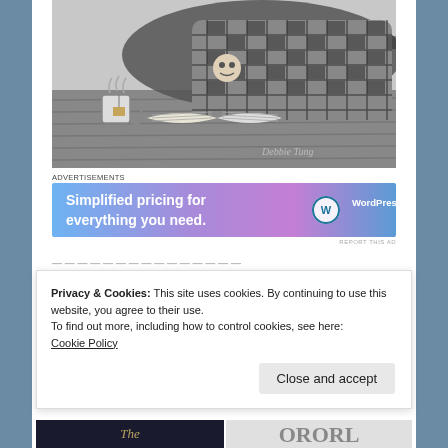[Figure (illustration): Black and white sketch illustration of a person lying under a checkered blanket with a cup of tea/coffee and an open book nearby. Artist signature 'Debbie Tung' visible at bottom right.]
Advertisements
[Figure (other): WordPress.com advertisement banner with gradient blue-purple background. Text: 'Simplified pricing for everything you need.' WordPress.com logo on right side.]
REPORT THIS AD
Privacy & Cookies: This site uses cookies. By continuing to use this website, you agree to their use.
To find out more, including how to control cookies, see here:
Cookie Policy
Close and accept
[Figure (photo): Bottom portion showing two book cover images partially visible]